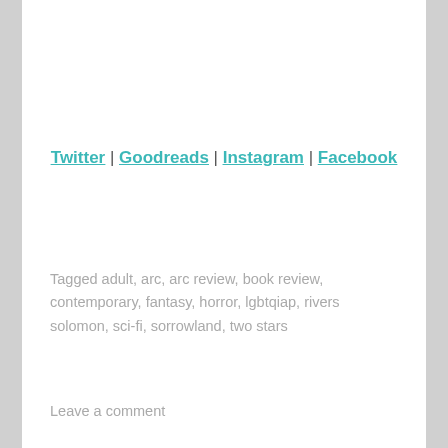Twitter | Goodreads | Instagram | Facebook
Tagged adult, arc, arc review, book review, contemporary, fantasy, horror, lgbtqiap, rivers solomon, sci-fi, sorrowland, two stars
Leave a comment
Privacy & Cookies: This site uses cookies. By continuing to use this website, you agree to their use. To find out more, including how to control cookies, see here: Cookie Policy
Close and accept